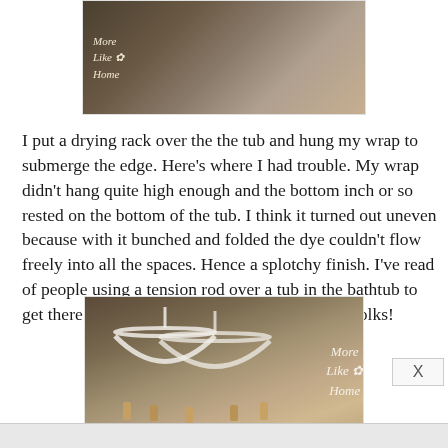[Figure (photo): Photo showing a chalkboard sign reading 'More Like Home' with decorative flower, dark background with person partially visible]
I put a drying rack over the the tub and hung my wrap to submerge the edge. Here's where I had trouble. My wrap didn't hang quite high enough and the bottom inch or so rested on the bottom of the tub. I think it turned out uneven because with it bunched and folded the dye couldn't flow freely into all the spaces. Hence a splotchy finish. I've read of people using a tension rod over a tub in the bathtub to get there wrap just the right height. Good idea, folks!
[Figure (photo): Photo showing white wire coat hangers with wooden clothespins, with 'More Like Home' watermark text overlay, warm brown background]